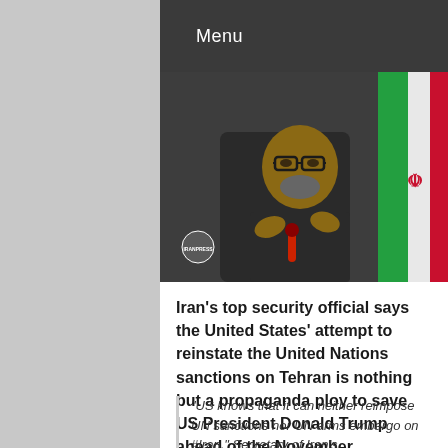Menu
[Figure (photo): Iranian official, a man with glasses and grey beard wearing a dark suit, gesturing with hands at a press conference with microphones and an Iranian flag in background. IranPress watermark visible.]
Iran's top security official says the United States' attempt to reinstate the United Nations sanctions on Tehran is nothing but a propaganda ploy to save US President Donald Trump ahead of the November presidential election.
“US knows that it can neither reimpose UN sanctions nor UN arms embargo on #Iran,” Secretary of Iran’s